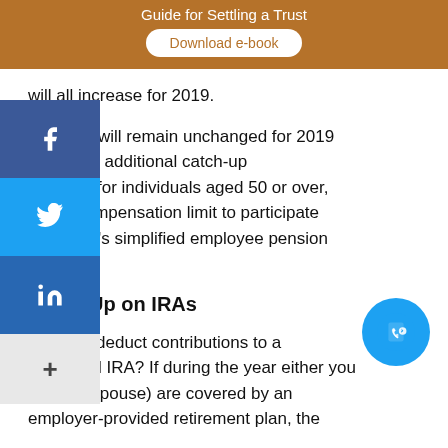Guide for Settling a Trust
Download e-book
will all increase for 2019.
unts that will remain unchanged for 2019 de: 1) the additional catch-up ributions for individuals aged 50 or over, 2) the compensation limit to participate employer's simplified employee pension plan.
Close-Up on IRAs
Can you deduct contributions to a traditional IRA? If during the year either you (or your spouse) are covered by an employer-provided retirement plan, the